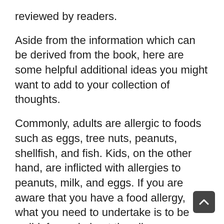reviewed by readers.
Aside from the information which can be derived from the book, here are some helpful additional ideas you might want to add to your collection of thoughts.
Commonly, adults are allergic to foods such as eggs, tree nuts, peanuts, shellfish, and fish. Kids, on the other hand, are inflicted with allergies to peanuts, milk, and eggs. If you are aware that you have a food allergy, what you need to undertake is to be well-informed about the allergy you have. By doing so, you will be able to overcome and recover from such an allergy.
Some types of food allergies will be discussed for further reference: